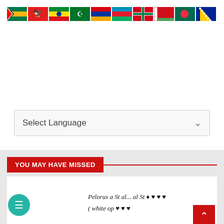[Figure (illustration): Row of country/language flags: South Africa, Albania, Ethiopia, Arab League, Armenia, Azerbaijan, Basque Country, Belarus, Bangladesh, Bosnia]
[Figure (screenshot): Select Language dropdown box with chevron]
YOU MAY HAVE MISSED
[Figure (photo): White card containing handwritten text/signature]
[Figure (illustration): Red back-to-top button with upward chevron arrow]
[Figure (illustration): Teal circular chat/message button]